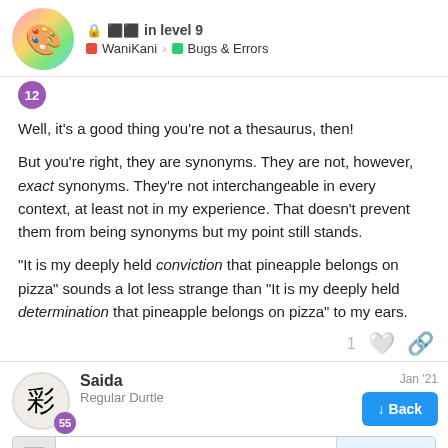🔒 [locked icon] in level 9 | WaniKani > Bugs & Errors
Well, it's a good thing you're not a thesaurus, then!
But you're right, they are synonyms. They are not, however, exact synonyms. They're not interchangeable in every context, at least not in my experience. That doesn't prevent them from being synonyms but my point still stands.
“It is my deeply held conviction that pineapple belongs on pizza” sounds a lot less strange than “It is my deeply held determination that pineapple belongs on pizza” to my ears.
Saida
Regular Durtle
Jan '21
anon8142279:
8 / 18